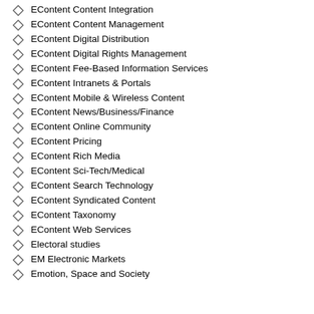EContent Content Integration
EContent Content Management
EContent Digital Distribution
EContent Digital Rights Management
EContent Fee-Based Information Services
EContent Intranets & Portals
EContent Mobile & Wireless Content
EContent News/Business/Finance
EContent Online Community
EContent Pricing
EContent Rich Media
EContent Sci-Tech/Medical
EContent Search Technology
EContent Syndicated Content
EContent Taxonomy
EContent Web Services
Electoral studies
EM Electronic Markets
Emotion, Space and Society